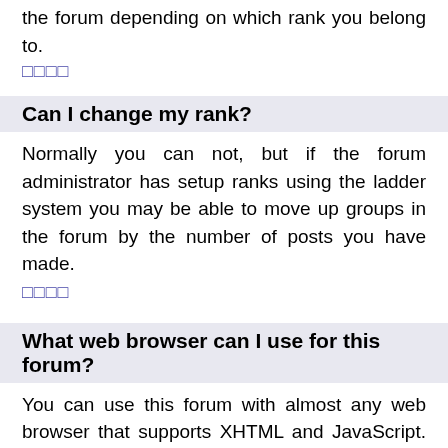the forum depending on which rank you belong to.
□□□□
Can I change my rank?
Normally you can not, but if the forum administrator has setup ranks using the ladder system you may be able to move up groups in the forum by the number of posts you have made.
□□□□
What web browser can I use for this forum?
You can use this forum with almost any web browser that supports XHTML and JavaScript. For full functionality we recommend that you use Internet Explorer 7+, Firefox, Opera 9+, and Netscape 9+. Safari and versions of Internet